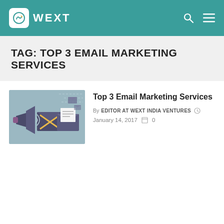WEXT
TAG: TOP 3 EMAIL MARKETING SERVICES
[Figure (illustration): Email marketing illustration with megaphone, email envelopes with X patterns, and envelope with letter on a teal/grey background]
Top 3 Email Marketing Services
By EDITOR AT WEXT INDIA VENTURES  January 14, 2017  0